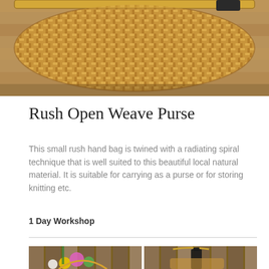[Figure (photo): Close-up photo of a woven rush hand bag / basket with open weave pattern on a wooden surface, with a dark strap visible at top right.]
Rush Open Weave Purse
This small rush hand bag is twined with a radiating spiral technique that is well suited to this beautiful local natural material. It is suitable for carrying as a purse or for storing knitting etc.
1 Day Workshop
[Figure (photo): Two photos side by side: left shows a woven rush basket with flowers (yellow, pink, white); right shows a woven rush basket with a wine bottle inside, against a wooden fence background.]